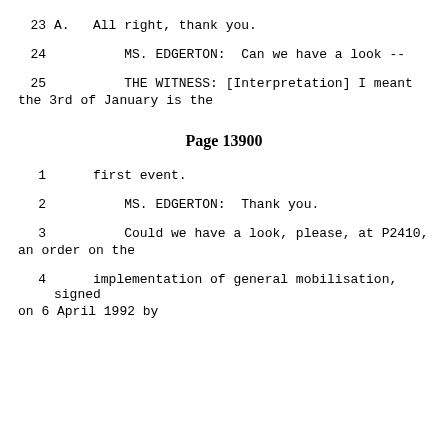23    A.   All right, thank you.
24         MS. EDGERTON:  Can we have a look --
25         THE WITNESS: [Interpretation] I meant the 3rd of January is the
Page 13900
1    first event.
2         MS. EDGERTON:  Thank you.
3         Could we have a look, please, at P2410, an order on the
4    implementation of general mobilisation, signed on 6 April 1992 by